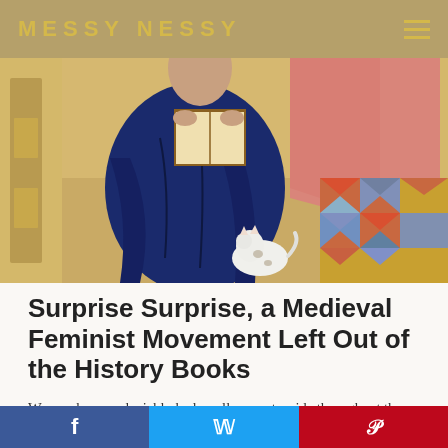MESSY NESSY
[Figure (photo): Medieval painting detail showing a figure in dark blue robes reading from a book, with a small white animal (cat or lamb) in the foreground and a colorful geometric patterned textile in the background.]
Surprise Surprise, a Medieval Feminist Movement Left Out of the History Books
Women have undeniably had a roller-coaster ride throughout the ages. Forever pawns in a power game, the role and image of women have been in constant flux,